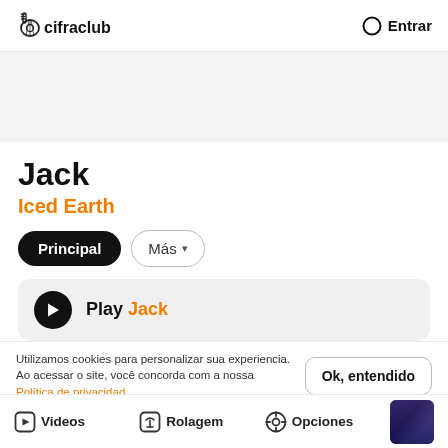cifraclub — Entrar
[Figure (other): Gray ad banner area]
Jack
Iced Earth
Principal   Más
Play Jack
Utilizamos cookies para personalizar sua experiencia. Ao acessar o site, você concorda com a nossa Política de privacidad.   Ok, entendido
Videos   Rolagem   Opciones